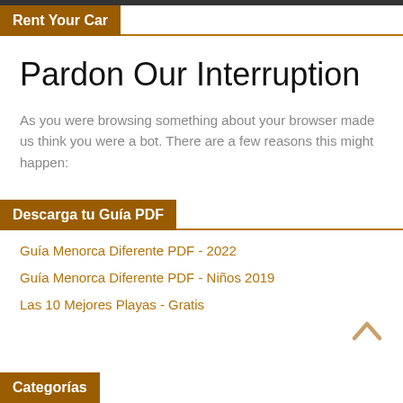Rent Your Car
Pardon Our Interruption
As you were browsing something about your browser made us think you were a bot. There are a few reasons this might happen:
Descarga tu Guía PDF
Guía Menorca Diferente PDF - 2022
Guía Menorca Diferente PDF - Niños 2019
Las 10 Mejores Playas - Gratis
Categorías